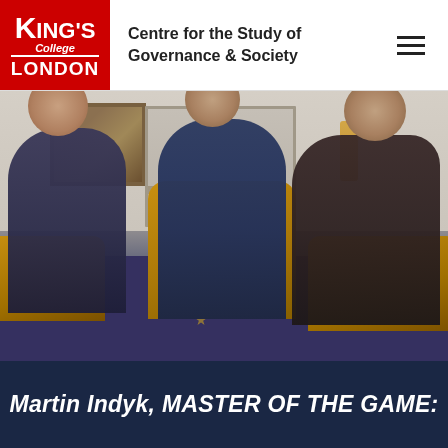King's College London — Centre for the Study of Governance & Society
[Figure (photo): Three men in suits seated in gold armchairs in what appears to be a formal White House room with a fireplace, painting, and wall sconces in the background. The man on the left and the man on the right are facing the man in the center who is smiling.]
Martin Indyk, MASTER OF THE GAME: